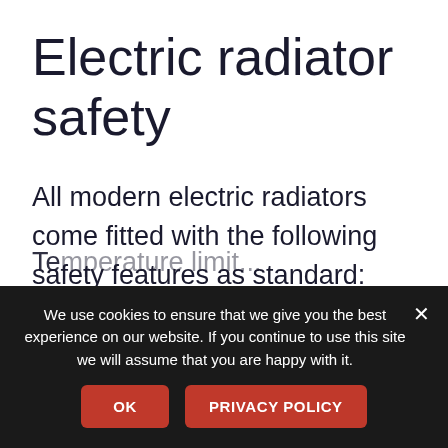Electric radiator safety
All modern electric radiators come fitted with the following safety features as standard:
Te...
We use cookies to ensure that we give you the best experience on our website. If you continue to use this site we will assume that you are happy with it.